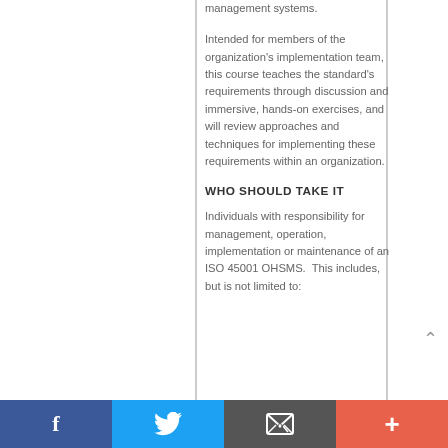management systems.
Intended for members of the organization's implementation team, this course teaches the standard's requirements through discussion and immersive, hands-on exercises, and will review approaches and techniques for implementing these requirements within an organization.
WHO SHOULD TAKE IT
Individuals with responsibility for management, operation, implementation or maintenance of an ISO 45001 OHSMS.  This includes, but is not limited to:
[Figure (infographic): Social media footer bar with Facebook, Twitter, Email, and Add (+) buttons]